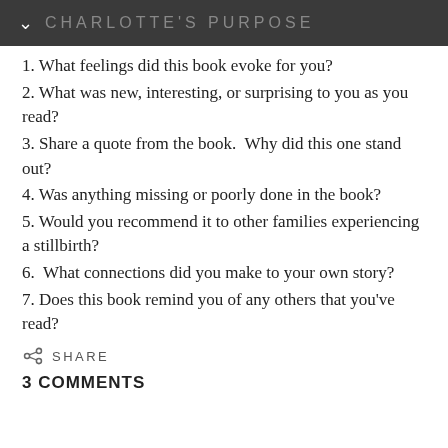CHARLOTTE'S PURPOSE
1. What feelings did this book evoke for you?
2. What was new, interesting, or surprising to you as you read?
3. Share a quote from the book.  Why did this one stand out?
4. Was anything missing or poorly done in the book?
5. Would you recommend it to other families experiencing a stillbirth?
6.  What connections did you make to your own story?
7. Does this book remind you of any others that you've read?
SHARE
3 COMMENTS